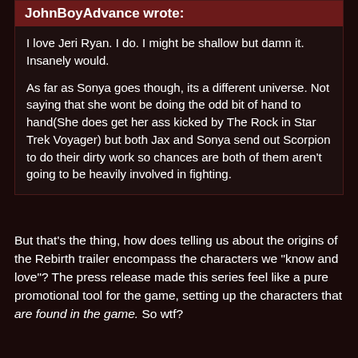JohnBoyAdvance wrote:
I love Jeri Ryan. I do. I might be shallow but damn it. Insanely would.
As far as Sonya goes though, its a different universe. Not saying that she wont be doing the odd bit of hand to hand(She does get her ass kicked by The Rock in Star Trek Voyager) but both Jax and Sonya send out Scorpion to do their dirty work so chances are both of them aren't going to be heavily involved in fighting.
But that's the thing, how does telling us about the origins of the Rebirth trailer encompass the characters we "know and love"? The press release made this series feel like a pure promotional tool for the game, setting up the characters that are found in the game. So wtf?